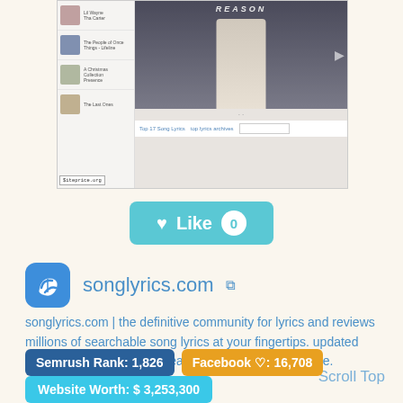[Figure (screenshot): Screenshot of songlyrics.com website showing a music lyrics page with artist photo (man in white shirt), sidebar with album art thumbnails, and navigation bar at bottom. Watermark reads $iteprice.org]
[Figure (other): Teal Like button with heart icon and count of 0]
songlyrics.com
songlyrics.com | the definitive community for lyrics and reviews
millions of searchable song lyrics at your fingertips. updated daily with lyrics, reviews, features. meanings and more.
Scroll Top
Semrush Rank: 1,826
Facebook ♡: 16,708
Website Worth: $ 3,253,300
Categories: Entertainment, Entertainment
[Figure (other): Green and red action buttons at bottom]